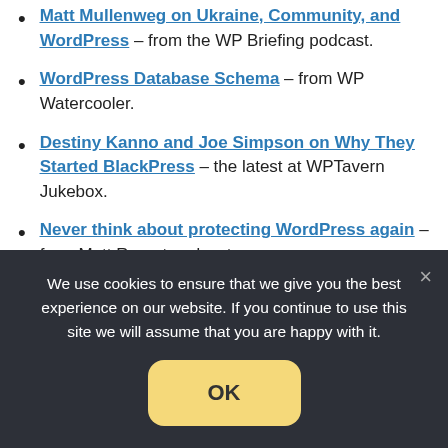Matt Mullenweg on Ukraine, Community, and WordPress – from the WP Briefing podcast.
WordPress Database Schema – from WP Watercooler.
Destiny Kanno and Joe Simpson on Why They Started BlackPress – the latest at WPTavern Jukebox.
Never think about protecting WordPress again – from Matt Report podcast.
Gutenberg 12.7, a New Call for Testing, the Web
We use cookies to ensure that we give you the best experience on our website. If you continue to use this site we will assume that you are happy with it.